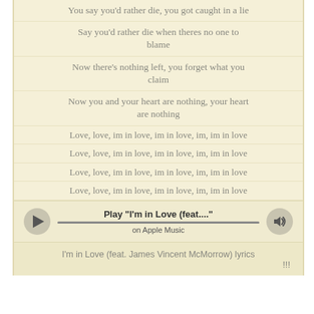You say you'd rather die, you got caught in a lie
Say you'd rather die when theres no one to blame
Now there's nothing left, you forget what you claim
Now you and your heart are nothing, your heart are nothing
Love, love, im in love, im in love, im, im in love
Love, love, im in love, im in love, im, im in love
Love, love, im in love, im in love, im, im in love
Love, love, im in love, im in love, im, im in love
[Figure (other): Apple Music player widget with play button, track title 'Play "I'm in Love (feat...."', progress bar, and volume button]
I'm in Love (feat. James Vincent McMorrow) lyrics !!!